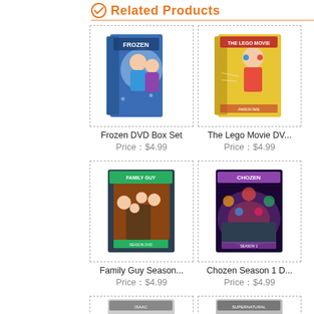Related Products
[Figure (photo): Frozen DVD Box Set product image]
Frozen DVD Box Set
Price：$4.99
[Figure (photo): The Lego Movie DVD product image]
The Lego Movie DV...
Price：$4.99
[Figure (photo): Family Guy Season product image]
Family Guy Season...
Price：$4.99
[Figure (photo): Chozen Season 1 DVD product image]
Chozen Season 1 D...
Price：$4.99
[Figure (photo): Isaac, Continental... product image (partial)]
Isaac, Continental...
[Figure (photo): Supernatural The... product image (partial)]
Supernatural The...